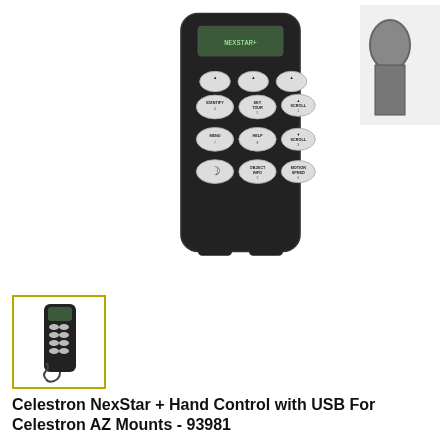[Figure (photo): Close-up photo of a Celestron NexStar+ hand controller (black remote with oval buttons including IDENTIFY, SKY TOUR, SCROLL up/down, MENU, HELP, MOTION SPEED, OBJECT INFO, and moon button) against white background. A secondary image to the right shows a partial view of a telescope mount.]
[Figure (photo): Thumbnail image of the Celestron NexStar+ hand controller showing full device with coiled cable, displayed with yellow/gold border indicating selected state.]
Celestron NexStar + Hand Control with USB For Celestron AZ Mounts - 93981
No Ratings Yet   Write a Review
Item #CELE-93981